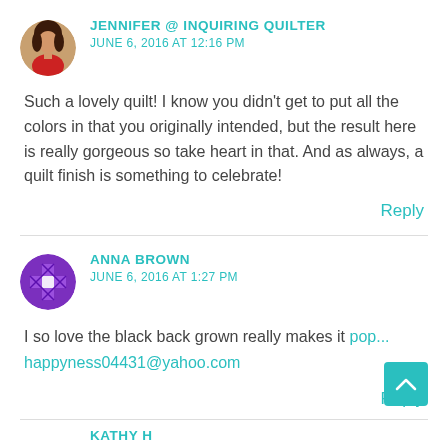[Figure (photo): Circular avatar photo of Jennifer, a woman in a red top]
JENNIFER @ INQUIRING QUILTER
JUNE 6, 2016 AT 12:16 PM
Such a lovely quilt! I know you didn't get to put all the colors in that you originally intended, but the result here is really gorgeous so take heart in that. And as always, a quilt finish is something to celebrate!
Reply
[Figure (illustration): Circular avatar with purple quilt block pattern for Anna Brown]
ANNA BROWN
JUNE 6, 2016 AT 1:27 PM
I so love the black back grown really makes it pop...
happyness04431@yahoo.com
Reply
KATHY H